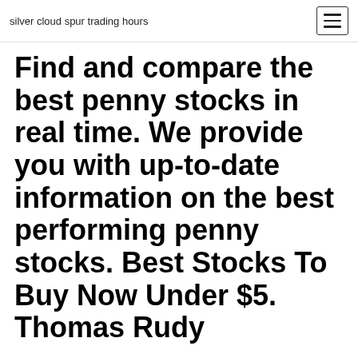silver cloud spur trading hours
Find and compare the best penny stocks in real time. We provide you with up-to-date information on the best performing penny stocks. Best Stocks To Buy Now Under $5. Thomas Rudy
Mar 11, 2020 · With that in mind, some of the best stocks to buy after the market's historic sell-off include: Adobe (NASDAQ: ADBE) Roku (NASDAQ: ROKU) Intel (NASDAQ: INTC) Okta (NASDAQ: OKTA) Microsoft The 10 Best Value Stocks to Buy for